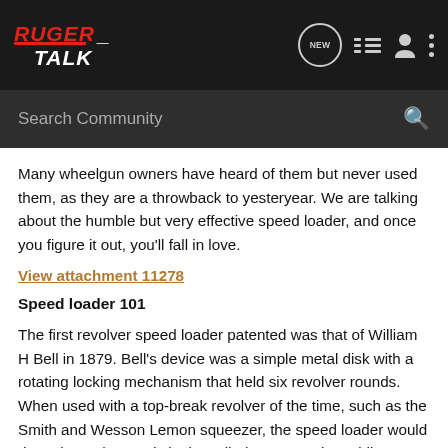RUGER TALK – navigation bar with logo, NEW button, list icon, person icon, dots menu
Search Community
Many wheelgun owners have heard of them but never used them, as they are a throwback to yesteryear. We are talking about the humble but very effective speed loader, and once you figure it out, you'll fall in love.
View attachment 11278
Speed loader 101
The first revolver speed loader patented was that of William H Bell in 1879. Bell's device was a simple metal disk with a rotating locking mechanism that held six revolver rounds. When used with a top-break revolver of the time, such as the Smith and Wesson Lemon squeezer, the speed loader would drop six ready rounds in the cylinder extremely rapidly.